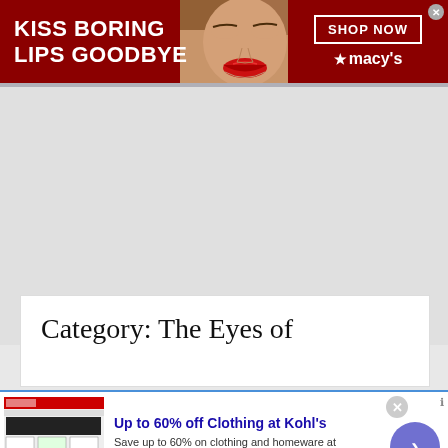[Figure (screenshot): Macy's banner advertisement with red background. Bold white text reads 'KISS BORING LIPS GOODBYE'. Center shows a woman's face with red lipstick. Right side has a 'SHOP NOW' button in a white rectangle and the Macy's star logo with text.]
[Figure (screenshot): Large gray placeholder content area below the Macy's banner, representing a webpage loading or blank content region.]
Category: The Eyes of
[Figure (screenshot): Kohl's advertisement banner. Headline: 'Up to 60% off Clothing at Kohl's'. Subtext: 'Save up to 60% on clothing and homeware at Kohl's.com'. URL: kohls.com. Left side shows a thumbnail of the Kohl's website with promotional coupon images. Right side has a blue circular arrow button.]